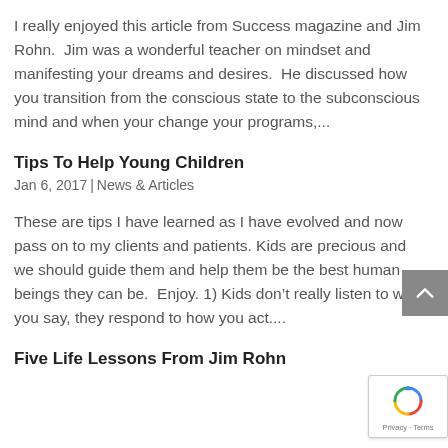I really enjoyed this article from Success magazine and Jim Rohn.  Jim was a wonderful teacher on mindset and manifesting your dreams and desires.  He discussed how you transition from the conscious state to the subconscious mind and when your change your programs,...
Tips To Help Young Children
Jan 6, 2017 | News & Articles
These are tips I have learned as I have evolved and now pass on to my clients and patients. Kids are precious and we should guide them and help them be the best human beings they can be.  Enjoy. 1) Kids don’t really listen to what you say, they respond to how you act....
Five Life Lessons From Jim Rohn